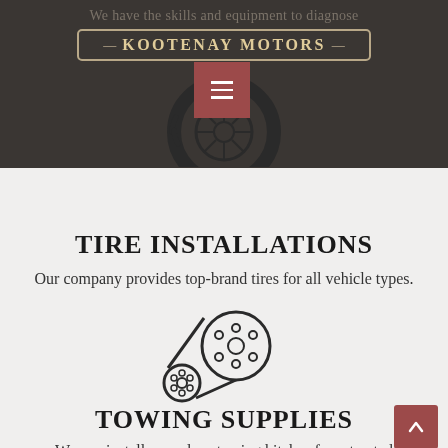We have the skills and equipment to diagnose
[Figure (logo): Kootenay Motors logo badge with ornate border]
[Figure (illustration): Tire icon with hamburger menu button overlay]
TIRE INSTALLATIONS
Our company provides top-brand tires for all vehicle types.
[Figure (illustration): Drive belt/pulley icon]
TOWING SUPPLIES
We can install or replace towing hitches from trusted